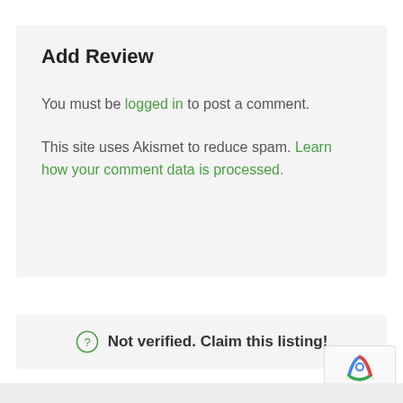Add Review
You must be logged in to post a comment.
This site uses Akismet to reduce spam. Learn how your comment data is processed.
Not verified. Claim this listing!